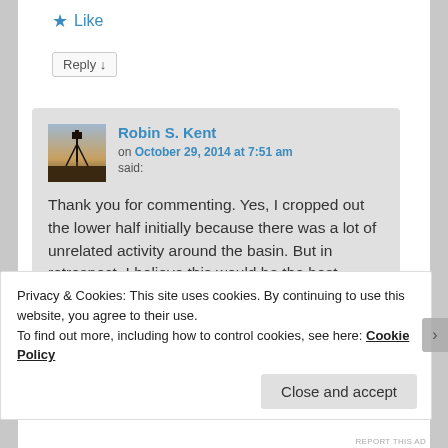★ Like
Reply ↓
[Figure (screenshot): User avatar for Robin S. Kent — dark landscape photo with silhouette of camera on tripod]
Robin S. Kent on October 29, 2014 at 7:51 am said:
Thank you for commenting. Yes, I cropped out the lower half initially because there was a lot of unrelated activity around the basin. But in retrospect, I believe this would be the best composition even if the
Privacy & Cookies: This site uses cookies. By continuing to use this website, you agree to their use.
To find out more, including how to control cookies, see here: Cookie Policy
Close and accept